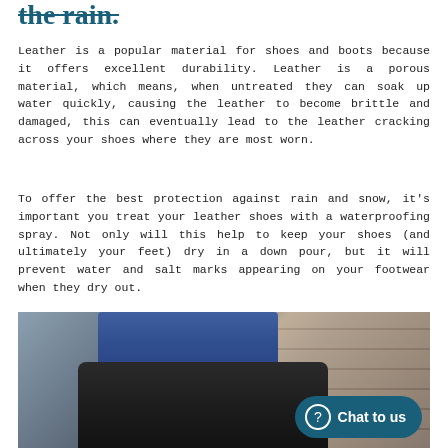the rain.
Leather is a popular material for shoes and boots because it offers excellent durability. Leather is a porous material, which means, when untreated they can soak up water quickly, causing the leather to become brittle and damaged, this can eventually lead to the leather cracking across your shoes where they are most worn.
To offer the best protection against rain and snow, it's important you treat your leather shoes with a waterproofing spray. Not only will this help to keep your shoes (and ultimately your feet) dry in a down pour, but it will prevent water and salt marks appearing on your footwear when they dry out.
[Figure (photo): Close-up photo of a person wearing dark denim jeans and black fur-trimmed winter boots, standing against a stone wall background. A teal 'Chat to us' button with a speech bubble icon is overlaid in the bottom right.]